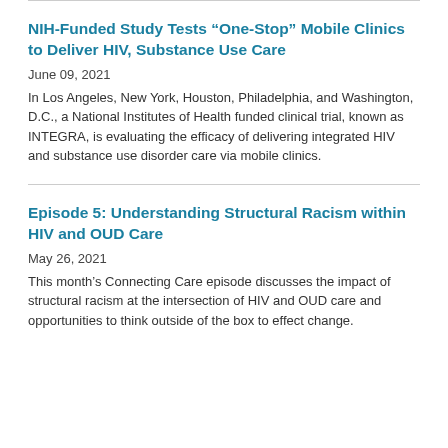NIH-Funded Study Tests “One-Stop” Mobile Clinics to Deliver HIV, Substance Use Care
June 09, 2021
In Los Angeles, New York, Houston, Philadelphia, and Washington, D.C., a National Institutes of Health funded clinical trial, known as INTEGRA, is evaluating the efficacy of delivering integrated HIV and substance use disorder care via mobile clinics.
Episode 5: Understanding Structural Racism within HIV and OUD Care
May 26, 2021
This month’s Connecting Care episode discusses the impact of structural racism at the intersection of HIV and OUD care and opportunities to think outside of the box to effect change.